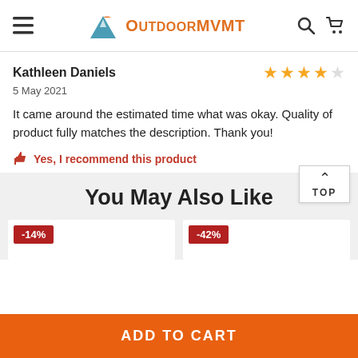OutdoorMVMT
Kathleen Daniels — 4 stars — 5 May 2021
It came around the estimated time what was okay. Quality of product fully matches the description. Thank you!
👍 Yes, I recommend this product
You May Also Like
-14%
-42%
ADD TO CART